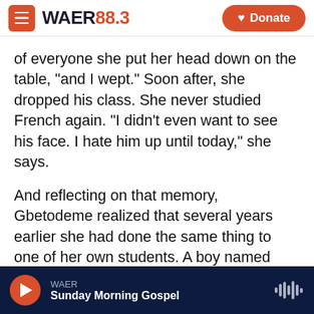WAER 88.3 | Donate
of everyone she put her head down on the table, "and I wept." Soon after, she dropped his class. She never studied French again. "I didn't even want to see his face. I hate him up until today," she says.
And reflecting on that memory, Gbetodeme realized that several years earlier she had done the same thing to one of her own students. A boy named Chris "was doing something naughty," she says, "I don't remember exactly what." So she hit him hard. Now when she runs into him she sees the same hatred in his eyes that she feels toward her French teacher.
WAER | Sunday Morning Gospel